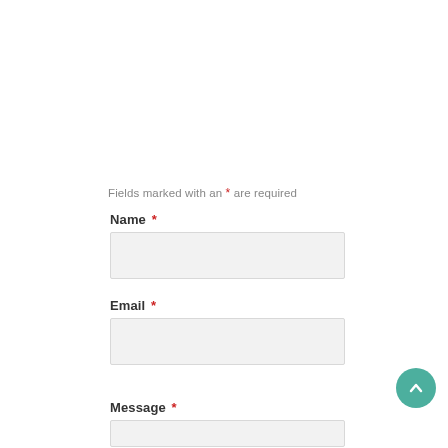Fields marked with an * are required
Name *
Email *
Message *